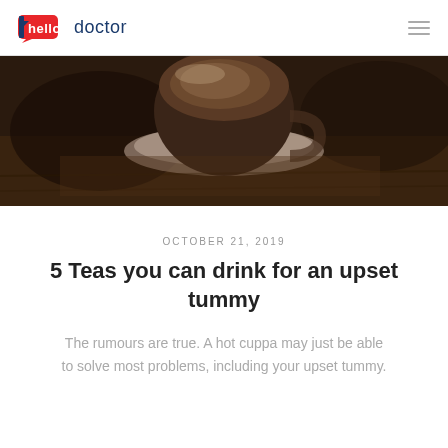hello doctor
[Figure (photo): Close-up photo of a dark tea cup on a saucer on a wooden table, dark moody lighting]
OCTOBER 21, 2019
5 Teas you can drink for an upset tummy
The rumours are true. A hot cuppa may just be able to solve most problems, including your upset tummy.